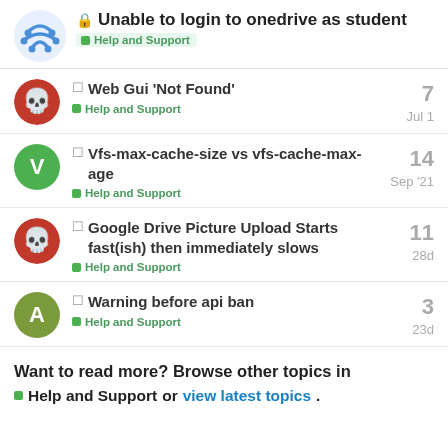Unable to login to onedrive as student — Help and Support
Web Gui 'Not Found' — Help and Support — 7 — Jul 1
Vfs-max-cache-size vs vfs-cache-max-age — Help and Support — 14 — Sep '21
Google Drive Picture Upload Starts fast(ish) then immediately slows — Help and Support — 11 — 28d
Warning before api ban — Help and Support — 3 — 23d
Want to read more? Browse other topics in Help and Support or view latest topics.